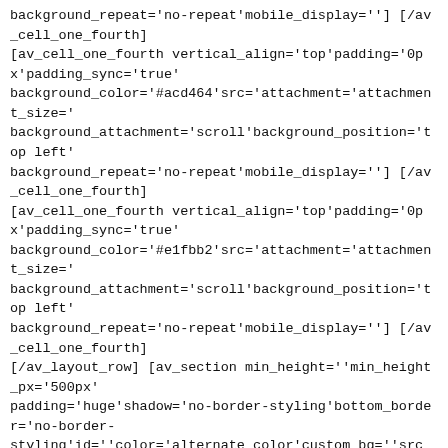background_repeat='no-repeat'mobile_display=''] [/av_cell_one_fourth] [av_cell_one_fourth vertical_align='top'padding='0px'padding_sync='true' background_color='#acd464'src='attachment='attachment_size=' background_attachment='scroll'background_position='top left' background_repeat='no-repeat'mobile_display=''] [/av_cell_one_fourth] [av_cell_one_fourth vertical_align='top'padding='0px'padding_sync='true' background_color='#e1fbb2'src='attachment='attachment_size=' background_attachment='scroll'background_position='top left' background_repeat='no-repeat'mobile_display=''] [/av_cell_one_fourth] [/av_layout_row] [av_section min_height='min_height_px='500px' padding='huge'shadow='no-border-styling'bottom_border='no-border-styling'id='color='alternate_color'custom_bg='src='http://biomed.vip-magazin.eu/wp-content/uploads/2016/05/complete-healthy-breakfast-m.jpg' attachment='232'attachment_size='full'attach='fixed'position='center center' repeat='stretch'video=''video_ratio='16:9' overlay_enable='aviaTBoverlay_enable'overlay_opacity='0.8' overlay_color='#000000'overlay_pattern=''overlay_custom_pattern=''] [av_one_fifth first min_height=''vertical_alignment=''space=''custom_margin='' margin='0px'padding='0px'border=''border_color=''radius='0px' background_color=''src=''background_position='top left' background_repeat='no-repeat'animation=''mobile_display=''] [/av_one_fifth] [av_three_fifth min_height=''vertical_alignment=''space=''custom_margin='' margin='0px'padding='0px'border=''border_color=''radius='0px' background_color=''src=''background_position='top left'